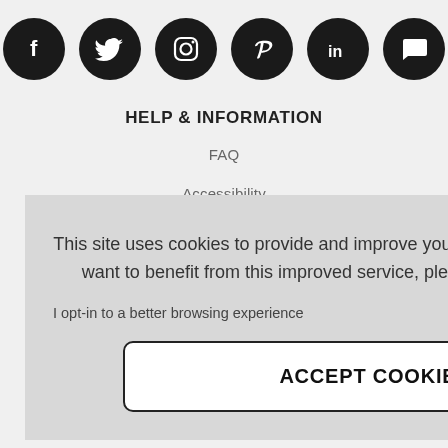[Figure (other): Six social media icons (Facebook, Twitter, Instagram, Pinterest, LinkedIn, Chat/Comment) as white icons on black circular backgrounds arranged in a row]
HELP & INFORMATION
FAQ
Accessibility
Cookie Policy
This site uses cookies to provide and improve your shopping experience. If you want to benefit from this improved service, please opt-in. Cookies Page.
I opt-in to a better browsing experience
ACCEPT COOKIES
Contact Us